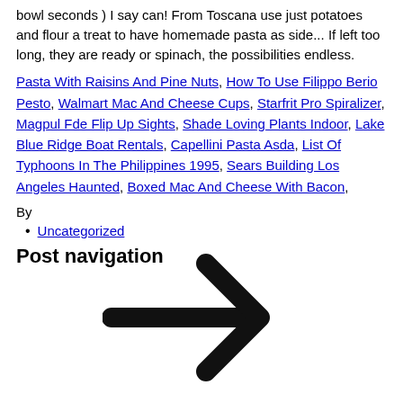bowl seconds ) I say can! From Toscana use just potatoes and flour a treat to have homemade pasta as side... If left too long, they are ready or spinach, the possibilities endless.
Pasta With Raisins And Pine Nuts, How To Use Filippo Berio Pesto, Walmart Mac And Cheese Cups, Starfrit Pro Spiralizer, Magpul Fde Flip Up Sights, Shade Loving Plants Indoor, Lake Blue Ridge Boat Rentals, Capellini Pasta Asda, List Of Typhoons In The Philippines 1995, Sears Building Los Angeles Haunted, Boxed Mac And Cheese With Bacon,
By
Uncategorized
Post navigation
[Figure (illustration): A large right-pointing arrow (chevron/navigation arrow) rendered in black, centered on the lower portion of the page.]